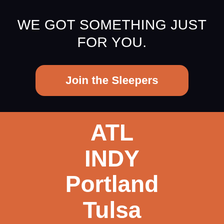WE GOT SOMETHING JUST FOR YOU.
Join the Sleepers
ATL
INDY
Portland
Tulsa